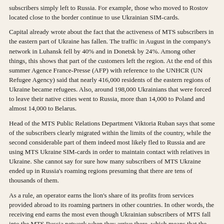subscribers simply left to Russia. For example, those who moved to Rostov located close to the border continue to use Ukrainian SIM-cards.
Capital already wrote about the fact that the activeness of MTS subscribers in the eastern part of Ukraine has fallen. The traffic in August in the company's network in Luhansk fell by 40% and in Donetsk by 24%. Among other things, this shows that part of the customers left the region. At the end of this summer Agence France-Presse (AFP) with reference to the UNHCR (UN Refugee Agency) said that nearly 416,000 residents of the eastern regions of Ukraine became refugees. Also, around 198,000 Ukrainians that were forced to leave their native cities went to Russia, more than 14,000 to Poland and almost 14,000 to Belarus.
Head of the MTS Public Relations Department Viktoria Ruban says that some of the subscribers clearly migrated within the limits of the country, while the second considerable part of them indeed most likely fled to Russia and are using MTS Ukraine SIM-cards in order to maintain contact with relatives in Ukraine. She cannot say for sure how many subscribers of MTS Ukraine ended up in Russia's roaming regions presuming that there are tens of thousands of them.
As a rule, an operator earns the lion's share of its profits from services provided abroad to its roaming partners in other countries. In other words, the receiving end earns the most even though Ukrainian subscribers of MTS fall into the MTS Russia network when they arrive there, which means that the total earnings remain in one and the same corporate group.